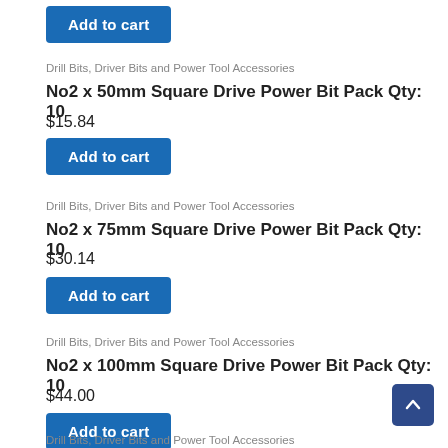Add to cart
Drill Bits, Driver Bits and Power Tool Accessories
No2 x 50mm Square Drive Power Bit Pack Qty: 10
$15.84
Add to cart
Drill Bits, Driver Bits and Power Tool Accessories
No2 x 75mm Square Drive Power Bit Pack Qty: 10
$30.14
Add to cart
Drill Bits, Driver Bits and Power Tool Accessories
No2 x 100mm Square Drive Power Bit Pack Qty: 10
$44.00
Add to cart
Drill Bits, Driver Bits and Power Tool Accessories